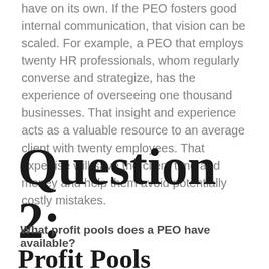have on its own. If the PEO fosters good internal communication, that vision can be scaled. For example, a PEO that employs twenty HR professionals, whom regularly converse and strategize, has the experience of overseeing one thousand businesses. That insight and experience acts as a valuable resource to an average client with twenty employees. That expertise will save the client time and money and help them avoid potentially costly mistakes.
Question 2:
What profit pools does a PEO have available?
Profit Pools